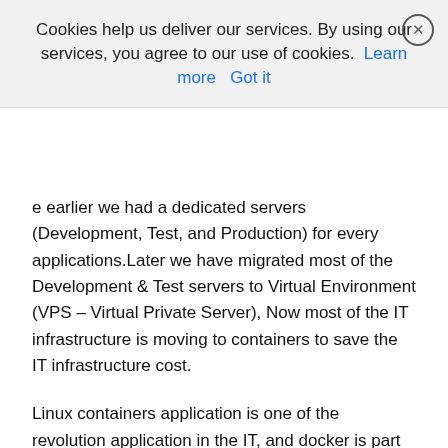Cookies help us deliver our services. By using our services, you agree to our use of cookies. Learn more  Got it
e earlier we had a dedicated servers (Development, Test, and Production) for every applications.Later we have migrated most of the Development & Test servers to Virtual Environment (VPS – Virtual Private Server), Now most of the IT infrastructure is moving to containers to save the IT infrastructure cost.
Linux containers application is one of the revolution application in the IT, and docker is part of it. By default docker will not come with any GUI and we have to manage through CLI.
It is very easy for NIX guys but others will face difficulties while managing the docker containers